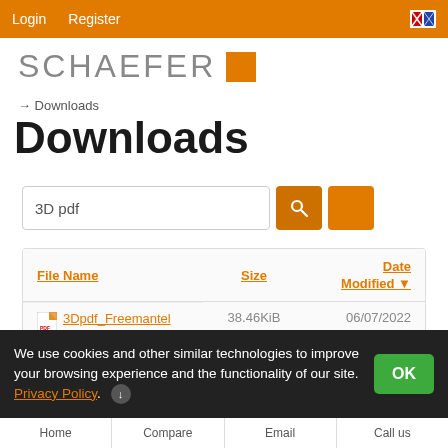Login  Register
[Figure (logo): SCHAEFER logo with orange square]
→ Downloads
Downloads
3D pdf [search input]
| File Name | Size | Date Modified ▼ |
| --- | --- | --- |
| 3Dpdf_Freemantel | 38.46KiB | 06/07/2022 |
We use cookies and other similar technologies to improve your browsing experience and the functionality of our site. Privacy Policy.
Home  Compare  Email  Call us